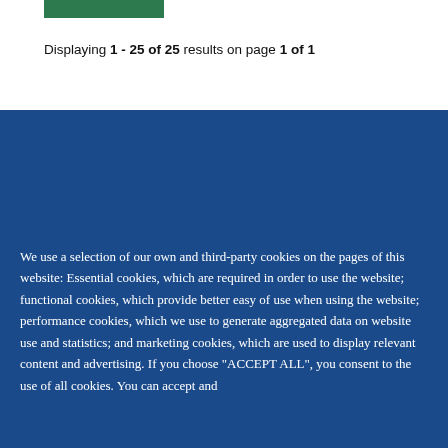[Figure (other): Green rectangular bar at top left]
Displaying 1 - 25 of 25 results on page 1 of 1
We use a selection of our own and third-party cookies on the pages of this website: Essential cookies, which are required in order to use the website; functional cookies, which provide better easy of use when using the website; performance cookies, which we use to generate aggregated data on website use and statistics; and marketing cookies, which are used to display relevant content and advertising. If you choose "ACCEPT ALL", you consent to the use of all cookies. You can accept and
ACCEPT ALL